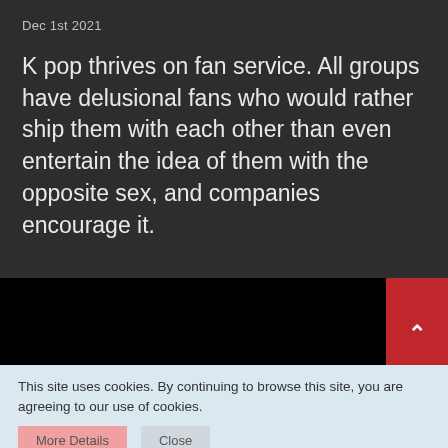Dec 1st 2021
K pop thrives on fan service. All groups have delusional fans who would rather ship them with each other than even entertain the idea of them with the opposite sex, and companies encourage it.
[Figure (other): Black section with red scroll navigation buttons (up and down arrows) on the right side]
This site uses cookies. By continuing to browse this site, you are agreeing to our use of cookies.
More Details   Close